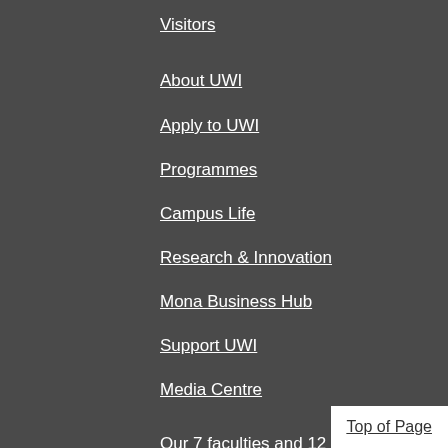Visitors
About UWI
Apply to UWI
Programmes
Campus Life
Research & Innovation
Mona Business Hub
Support UWI
Media Centre
Our 7 faculties and 12 professional schools offer more than 200 programmes to some 18,000 graduate, undergraduate and continuing stu...